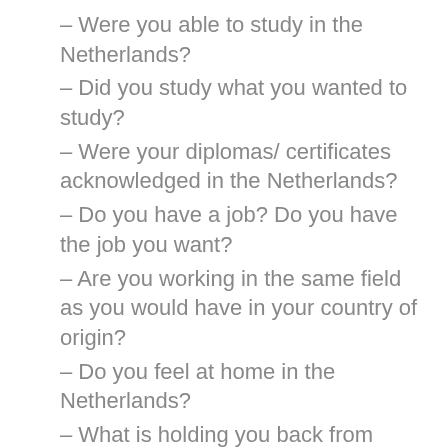– Were you able to study in the Netherlands?
– Did you study what you wanted to study?
– Were your diplomas/ certificates acknowledged in the Netherlands?
– Do you have a job? Do you have the job you want?
– Are you working in the same field as you would have in your country of origin?
– Do you feel at home in the Netherlands?
– What is holding you back from reaching your life goals in the Netherlands?